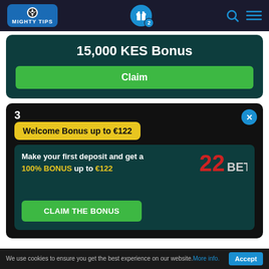MIGHTY TIPS navigation bar with gift icon (2), search, and menu
15,000 KES Bonus
Claim
3
Welcome Bonus up to €122
Make your first deposit and get a 100% BONUS up to €122
CLAIM THE BONUS
We use cookies to ensure you get the best experience on our website. More info.